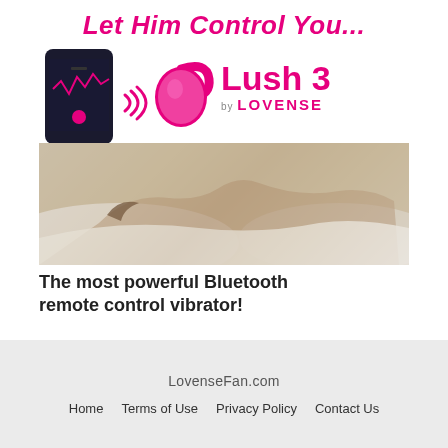Let Him Control You...
[Figure (illustration): Lovense Lush 3 product advertisement showing a smartphone app, pink egg vibrator with wifi signal waves, the Lush 3 by Lovense logo, and a model on a bed]
The most powerful Bluetooth remote control vibrator!
LovenseFan.com
Home   Terms of Use   Privacy Policy   Contact Us